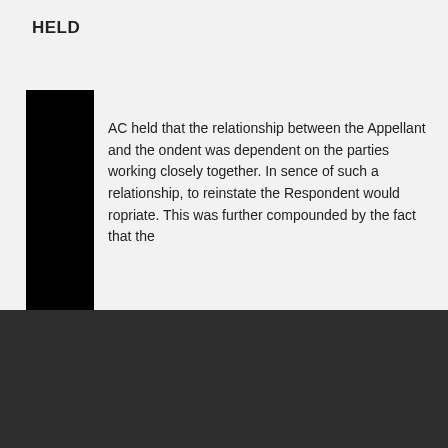HELD
AC held that the relationship between the Appellant and the ondent was dependent on the parties working closely together. In sence of such a relationship, to reinstate the Respondent would ropriate. This was further compounded by the fact that the
We use cookies to ensure that we give you the best experience on our website. A cookie is a small piece of data sent from our websites or applications to your computer or device hard drive or Internet browser where it is saved. The cookie contains information to personalise your experience on our websites or applications and may improve your experience on the websites or applications. The cookie will also identify your device, like the computer or smart phone. By using our websites or applications you agree that cookies may be forwarded from the relevant website or application to your computer or device. The cookie will enable us to know that you have visited the website or application before and will identify you. We may also use the cookie to prevent fraud and for analytics.